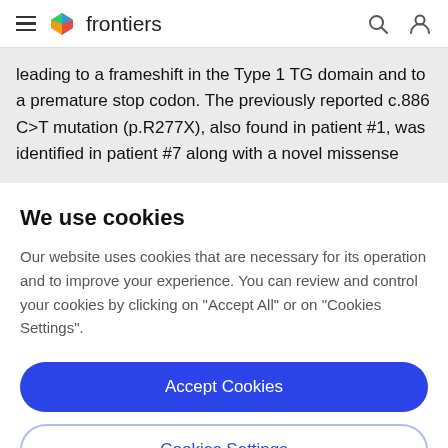frontiers
leading to a frameshift in the Type 1 TG domain and to a premature stop codon. The previously reported c.886 C>T mutation (p.R277X), also found in patient #1, was identified in patient #7 along with a novel missense
We use cookies
Our website uses cookies that are necessary for its operation and to improve your experience. You can review and control your cookies by clicking on "Accept All" or on "Cookies Settings".
Accept Cookies
Cookies Settings